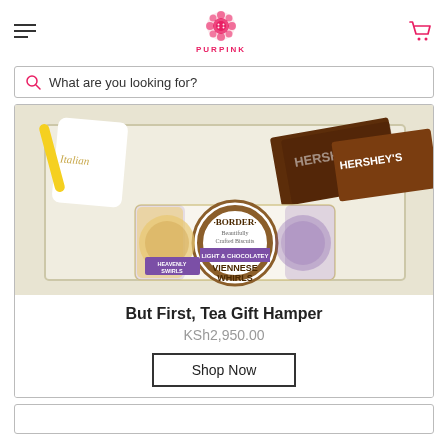PURPINK
What are you looking for?
[Figure (photo): Gift hamper box containing Border Viennese Whirls biscuits, Hershey's chocolate bars, a mug, and other items on a cream tray]
But First, Tea Gift Hamper
KSh2,950.00
Shop Now